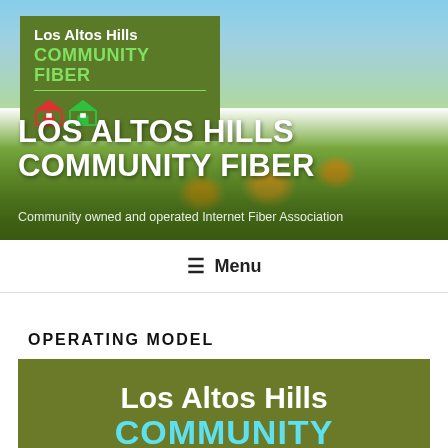[Figure (photo): Hero banner with outdoor meadow/field background showing green grass, wildflowers, and sky, with Los Altos Hills Community Fiber logo overlay]
LOS ALTOS HILLS COMMUNITY FIBER
Community owned and operated Internet Fiber Association
≡ Menu
OPERATING MODEL
[Figure (logo): Los Altos Hills Community Fiber logo on olive-green background with white and cyan text]